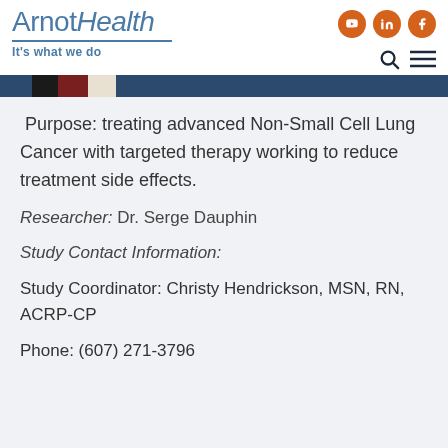ArnotHealth — It's what we do
Purpose: treating advanced Non-Small Cell Lung Cancer with targeted therapy working to reduce treatment side effects.
Researcher: Dr. Serge Dauphin
Study Contact Information:
Study Coordinator: Christy Hendrickson, MSN, RN, ACRP-CP
Phone: (607) 271-3796